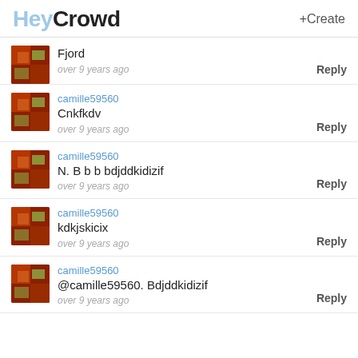HeyCrowd +Create
Fjord
over 9 years ago
Reply
camille59560
Cnkfkdv
over 9 years ago
Reply
camille59560
N. B b b bdjddkidizif
over 9 years ago
Reply
camille59560
kdkjskicix
over 9 years ago
Reply
camille59560
@camille59560. Bdjddkidizif
over 9 years ago
Reply